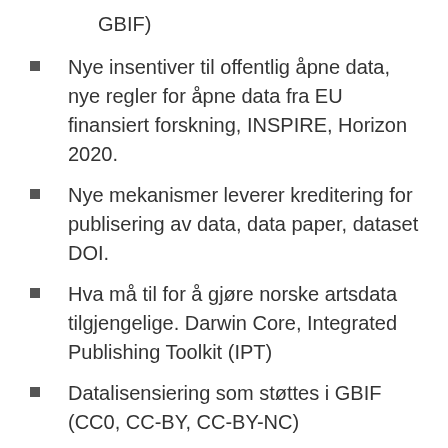GBIF)
Nye insentiver til offentlig åpne data, nye regler for åpne data fra EU finansiert forskning, INSPIRE, Horizon 2020.
Nye mekanismer leverer kreditering for publisering av data, data paper, dataset DOI.
Hva må til for å gjøre norske artsdata tilgjengelige. Darwin Core, Integrated Publishing Toolkit (IPT)
Datalisensiering som støttes i GBIF (CC0, CC-BY, CC-BY-NC)
GBIF data portal og webtjenester for